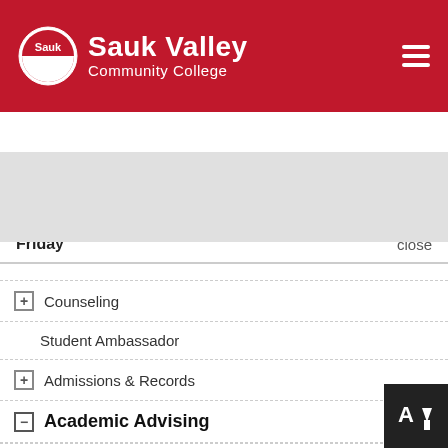Sauk Valley Community College
Friday   close
Students
Counseling
Student Ambassador
Admissions & Records
Academic Advising
Peer Mentoring
Call-in/Drop-In Times
Registering for Classes (Video)
Office Hours
Make an Appointment (current students)
Educational Planning
Career Exploration
Personal/Social/Life Transitions